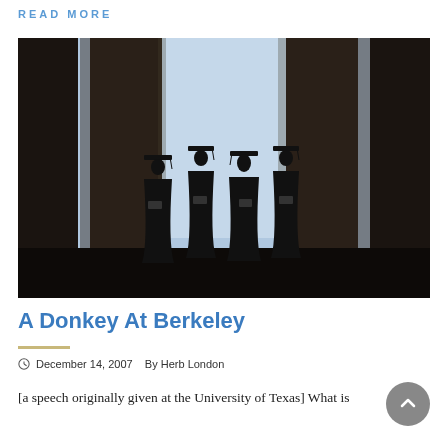READ MORE
[Figure (photo): Four university graduates in caps and gowns standing as silhouettes between large columns, photographed from below against a light sky.]
A Donkey At Berkeley
December 14, 2007   By Herb London
[a speech originally given at the University of Texas] What is